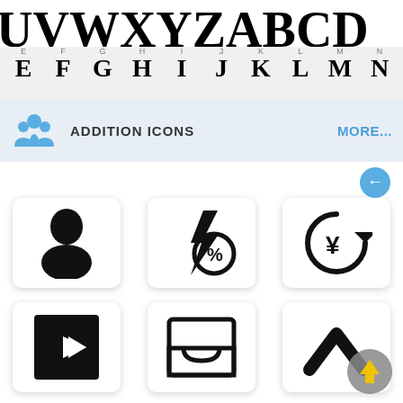[Figure (illustration): Top row showing large decorative serif font characters (U,V,W,X,Y,Z,A,B,C,D) in bold black on white background]
[Figure (illustration): Second row showing alphabet font characters E,F,G,H,I,J,K,L,M,N with letter labels above each character]
ADDITION ICONS
MORE...
[Figure (illustration): Grid of 6 icons: person/user silhouette, discount/percent tag, yen currency refresh, sign-in/enter arrow, inbox tray, chevron/up arrow]
[Figure (illustration): Scroll-to-top button (grey circle with yellow up arrow)]